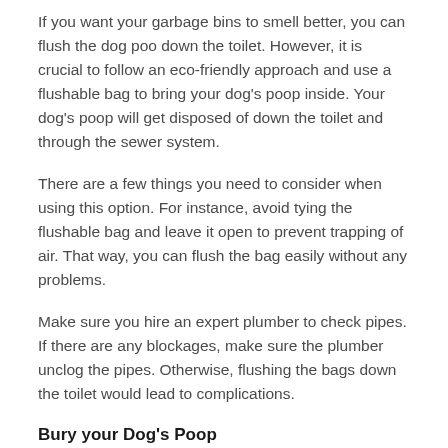If you want your garbage bins to smell better, you can flush the dog poo down the toilet. However, it is crucial to follow an eco-friendly approach and use a flushable bag to bring your dog's poop inside. Your dog's poop will get disposed of down the toilet and through the sewer system.
There are a few things you need to consider when using this option. For instance, avoid tying the flushable bag and leave it open to prevent trapping of air. That way, you can flush the bag easily without any problems.
Make sure you hire an expert plumber to check pipes. If there are any blockages, make sure the plumber unclog the pipes. Otherwise, flushing the bags down the toilet would lead to complications.
Bury your Dog's Poop
You can bury your dog's poop if you have enough space on the property. If you have previously buried your dog's waste, make sure you don't dig the same spot. Bury the